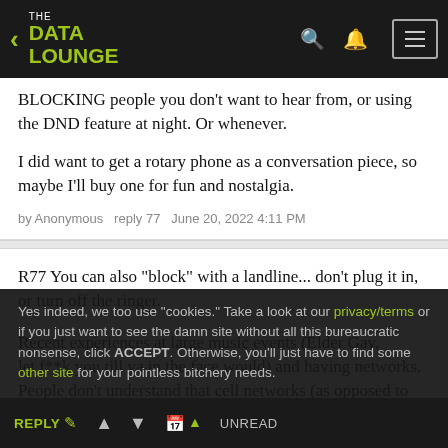THE DATA LOUNGE
BLOCKING people you don't want to hear from, or using the DND feature at night. Or whenever.
I did want to get a rotary phone as a conversation piece, so maybe I'll buy one for fun and nostalgia.
by Anonymous   reply 77   June 20, 2022 4:11 PM
R77 You can also "block" with a landline... don't plug it in, or turn off the ringer.
Recent experiences at large music events (Elder Gay, let f**k you till ya in the face would) and having networks. People don't understand that cell networks (as opposed to satellite phones) may crash.
Yes indeed, we too use "cookies." Take a look at our privacy/terms or if you just want to see the damn site without all this bureaucratic nonsense, click ACCEPT. Otherwise, you'll just have to find some other site for your pointless bitchery needs.
REPLY   ▲   ▼   📅 ▲   UNREAD